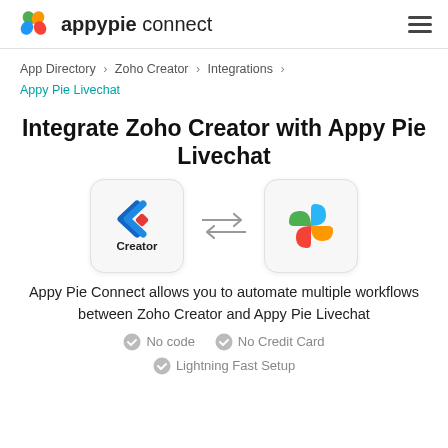appypie connect
App Directory > Zoho Creator > Integrations > Appy Pie Livechat
Integrate Zoho Creator with Appy Pie Livechat
[Figure (infographic): Two app icons connected by bidirectional arrows: Zoho Creator (blue diamond logo with red accent) on the left and Appy Pie Livechat (colorful pinwheel logo) on the right]
Appy Pie Connect allows you to automate multiple workflows between Zoho Creator and Appy Pie Livechat
No code
No Credit Card
Lightning Fast Setup